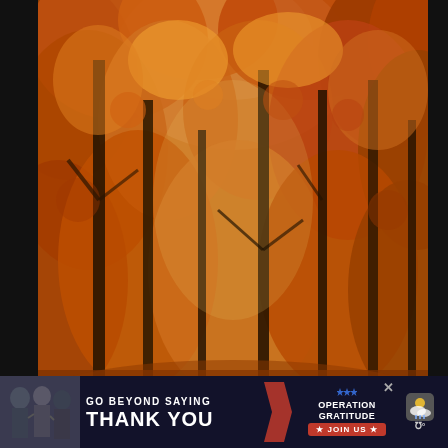[Figure (photo): Autumn forest photograph showing tall trees with dense orange, amber, and red foliage. The scene shows a forest pathway with warm golden light filtering through the canopy. The overall tone is rich with saturated autumn colors.]
[Figure (infographic): Teal circular heart/like button overlaid on the bottom-right of the forest photo, with the number 161 below it, and a share button (circular grey with share icon) below that.]
[Figure (infographic): Advertisement banner at the bottom: 'GO BEYOND SAYING THANK YOU' with Operation Gratitude logo and JOIN US button. Left side shows military/people photo. Right side has a weather app icon. An X close button is visible.]